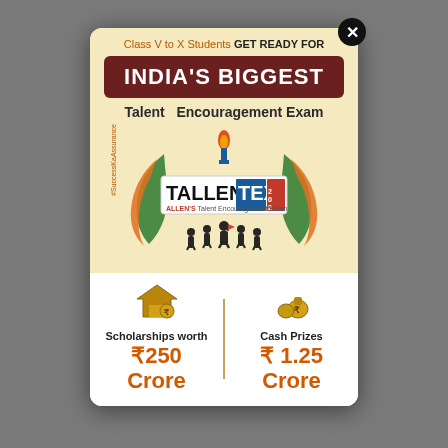[Figure (screenshot): Modal popup advertisement for TALLENTEX 2023 - India's Biggest Talent Encouragement Exam by ALLEN, showing scholarships worth ₹250 Crore and Cash Prizes ₹1.25 Crore]
Class V to X Students GET READY FOR
INDIA'S BIGGEST
Talent Encouragement Exam
TALLENTEX 2023 ALLEN'S Talent Encouragement Exam
#SuccessKaAssurance
Scholarships worth ₹250 Crore
Cash Prizes ₹1.25 Crore